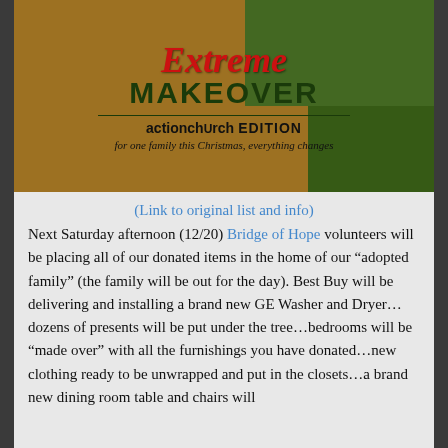[Figure (illustration): Extreme Makeover actionchurch Edition promotional graphic. Text reads 'Extreme MAKEOVER actionchurch EDITION for one family this Christmas, everything changes' on a background of OSB wood and green grass.]
(Link to original list and info)
Next Saturday afternoon (12/20) Bridge of Hope volunteers will be placing all of our donated items in the home of our “adopted family” (the family will be out for the day). Best Buy will be delivering and installing a brand new GE Washer and Dryer…dozens of presents will be put under the tree…bedrooms will be “made over” with all the furnishings you have donated…new clothing ready to be unwrapped and put in the closets…a brand new dining room table and chairs will